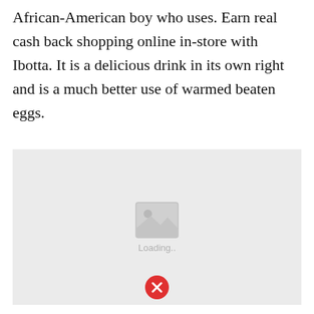African-American boy who uses. Earn real cash back shopping online in-store with Ibotta. It is a delicious drink in its own right and is a much better use of warmed beaten eggs.
[Figure (photo): Image placeholder with loading icon and 'Loading..' text, with a red X close button at the bottom]